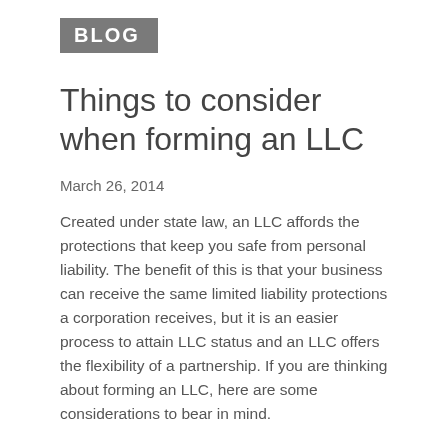BLOG
Things to consider when forming an LLC
March 26, 2014
Created under state law, an LLC affords the protections that keep you safe from personal liability. The benefit of this is that your business can receive the same limited liability protections a corporation receives, but it is an easier process to attain LLC status and an LLC offers the flexibility of a partnership. If you are thinking about forming an LLC, here are some considerations to bear in mind.